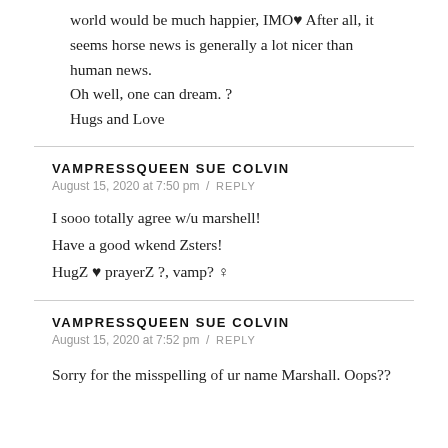world would be much happier, IMO♥ After all, it seems horse news is generally a lot nicer than human news.
Oh well, one can dream. ?
Hugs and Love
VAMPRESSQUEEN SUE COLVIN
August 15, 2020 at 7:50 pm / REPLY
I sooo totally agree w/u marshell!
Have a good wkend Zsters!
HugZ ♥ prayerZ ?, vamp? ♀
VAMPRESSQUEEN SUE COLVIN
August 15, 2020 at 7:52 pm / REPLY
Sorry for the misspelling of ur name Marshall. Oops??